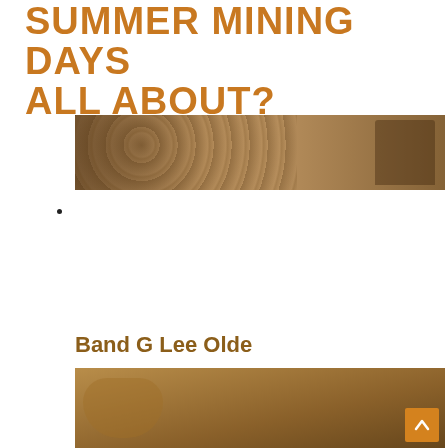SUMMER MINING DAYS ALL ABOUT?
[Figure (photo): Sepia-toned wide banner photo of an outdoor scene with musicians or performers, foliage in background, and a person wearing a hat on the right side.]
Band G Lee Olde
[Figure (photo): Sepia-toned photo showing what appears to be musical instruments or equipment, with an orange scroll-to-top button in the lower right corner.]